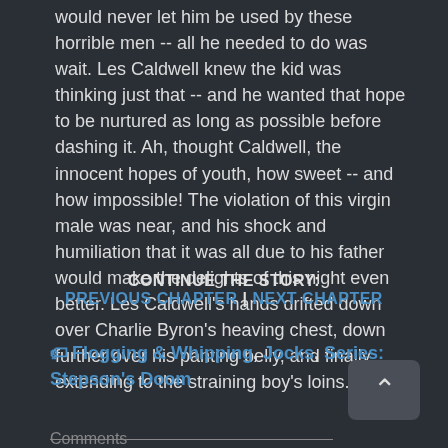would never let him be used by these horrible men -- all he needed to do was wait. Les Caldwell knew the kid was thinking just that -- and he wanted that hope to be nurtured as long as possible before dashing it. Ah, thought Caldwell, the innocent hopes of youth, how sweet -- and how impossible! The violation of this virgin male was near, and his shock and humiliation that it was all due to his father would make the delights of this night even better. Les Caldwell's hands drifted down over Charlie Byron's heaving chest, down further over his panting belly, and finally extending to the straining boy's loins.
CONTINUE THE STORY:
PREVIOUS CHAPTER | NEXT CHAPTER
🏷 Flogging & Whipping, Jocks, Series: Stepson's Doom